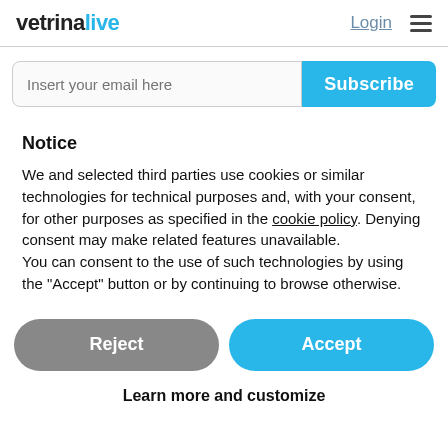vetrinalive | Login ≡
[Figure (screenshot): Email subscription input field with placeholder 'Insert your email here' and a blue 'Subscribe' button]
Notice
We and selected third parties use cookies or similar technologies for technical purposes and, with your consent, for other purposes as specified in the cookie policy. Denying consent may make related features unavailable.
You can consent to the use of such technologies by using the "Accept" button or by continuing to browse otherwise.
[Figure (screenshot): Two buttons side by side: grey 'Reject' button and blue 'Accept' button]
Learn more and customize